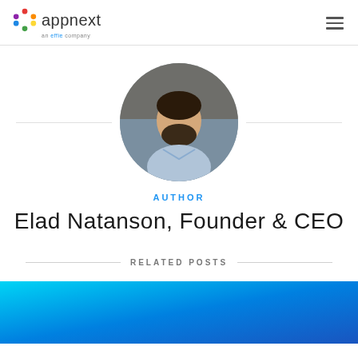[Figure (logo): Appnext logo — circular icon with colored dots and the word 'appnext', subtitle 'an effie company']
AUTHOR
Elad Natanson, Founder & CEO
RELATED POSTS
[Figure (illustration): Blue gradient background image used as a thumbnail for a related post]